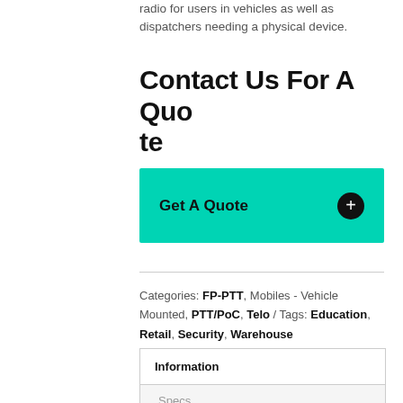radio for users in vehicles as well as dispatchers needing a physical device.
Contact Us For A Quote
[Figure (other): Teal/green call-to-action button labeled 'Get A Quote' with a black plus icon on the right]
Categories: FP-PTT, Mobiles - Vehicle Mounted, PTT/PoC, Telo / Tags: Education, Retail, Security, Warehouse
| Information |
| --- |
| Specs |
| Accessories |